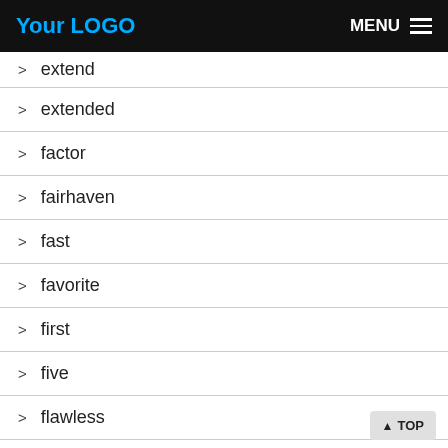Your LOGO   MENU
> extend
> extended
> factor
> fairhaven
> fast
> favorite
> first
> five
> flawless
> flex
> flex-6300
> flex-6500